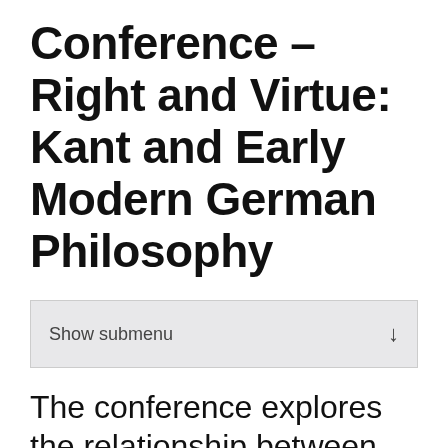Conference – Right and Virtue: Kant and Early Modern German Philosophy
Show submenu
The conference explores the relationship between ethics and political philosophy, considering